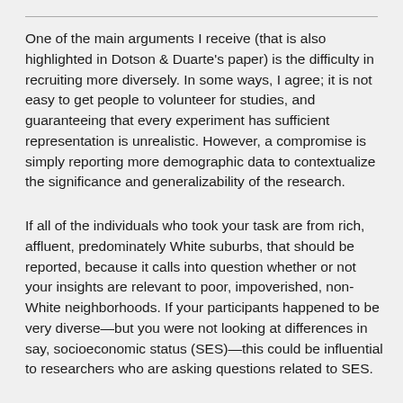One of the main arguments I receive (that is also highlighted in Dotson & Duarte's paper) is the difficulty in recruiting more diversely. In some ways, I agree; it is not easy to get people to volunteer for studies, and guaranteeing that every experiment has sufficient representation is unrealistic. However, a compromise is simply reporting more demographic data to contextualize the significance and generalizability of the research.
If all of the individuals who took your task are from rich, affluent, predominately White suburbs, that should be reported, because it calls into question whether or not your insights are relevant to poor, impoverished, non-White neighborhoods. If your participants happened to be very diverse—but you were not looking at differences in say, socioeconomic status (SES)—this could be influential to researchers who are asking questions related to SES.